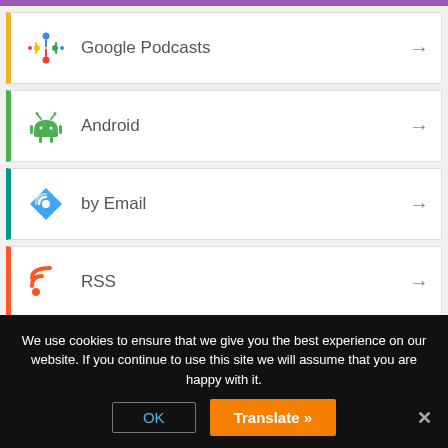Google Podcasts
Android
by Email
RSS
Product categories
We use cookies to ensure that we give you the best experience on our website. If you continue to use this site we will assume that you are happy with it.